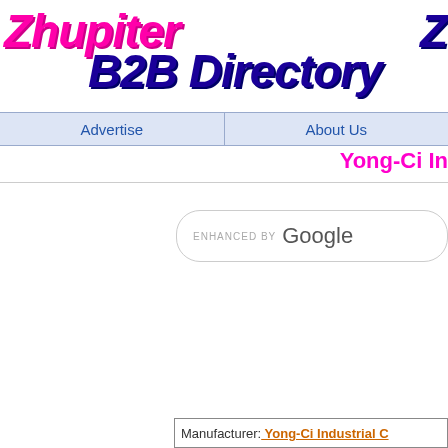Zhupiter B2B Directory
Advertise | About Us
Yong-Ci In
[Figure (screenshot): Google custom search box with 'ENHANCED BY Google' text]
Manufacturer: Yong-Ci Industrial C